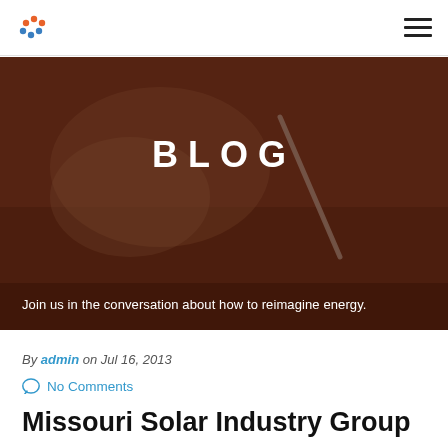Logo and navigation menu
[Figure (photo): Hero banner with dark brownish-red overlay showing a person writing with a pen at a desk. The word BLOG is displayed prominently in the center in bold white uppercase letters with wide letter-spacing. Below the image area: 'Join us in the conversation about how to reimagine energy.']
BLOG
Join us in the conversation about how to reimagine energy.
By admin on Jul 16, 2013
No Comments
Missouri Solar Industry Group